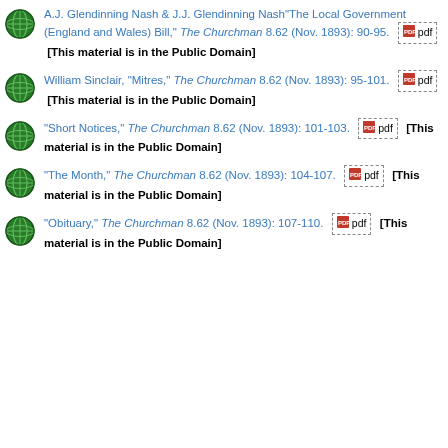A.J. Glendinning Nash & J.J. Glendinning Nash"The Local Government (England and Wales) Bill," The Churchman 8.62 (Nov. 1893): 90-95. [pdf] [This material is in the Public Domain]
William Sinclair, "Mitres," The Churchman 8.62 (Nov. 1893): 95-101. [pdf] [This material is in the Public Domain]
"Short Notices," The Churchman 8.62 (Nov. 1893): 101-103. [pdf] [This material is in the Public Domain]
"The Month," The Churchman 8.62 (Nov. 1893): 104-107. [pdf] [This material is in the Public Domain]
"Obituary," The Churchman 8.62 (Nov. 1893): 107-110. [pdf] [This material is in the Public Domain]